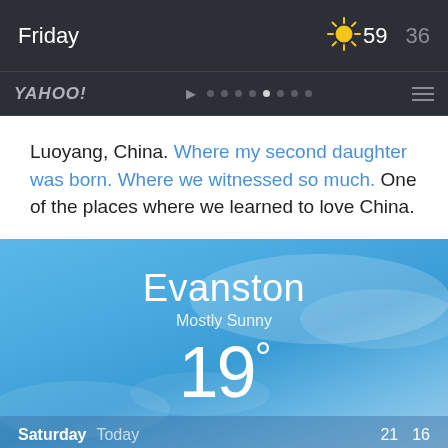[Figure (screenshot): iOS weather app bar showing Friday, sunny icon, high 59, low 36]
[Figure (screenshot): Yahoo Weather app navigation bar with Yahoo logo, navigation dots, and menu icon]
Luoyang, China. Where my second daughter was born. Where we witnessed so much. One of the places where we learned to love China.
[Figure (screenshot): Weather app card showing Evanston, Mostly Sunny, 19 degrees, with Saturday/Today 21 16 at bottom]